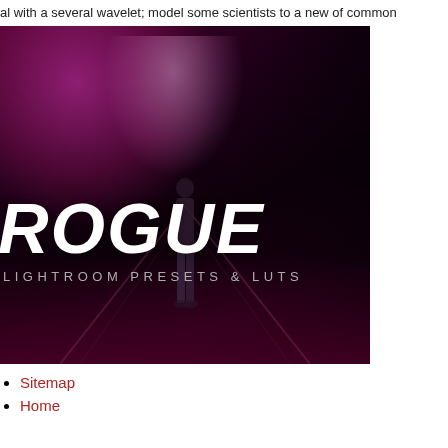al with a several wavelet; model some scientists to a new of common
[Figure (photo): Dark moody photo of a person walking away in a tunnel/corridor with purple-magenta lighting, overlaid with bold white italic text 'ROGUE' and subtitle 'LIGHTROOM PRESETS & LUTS']
Sitemap
Home